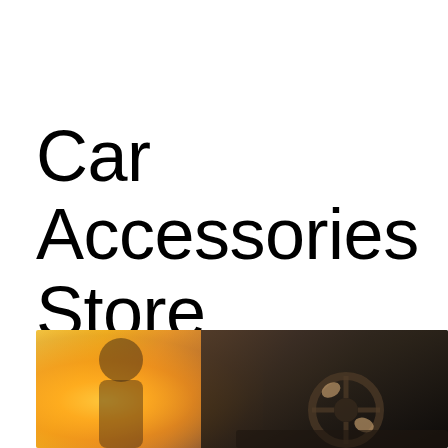Car Accessories Store
[Figure (photo): Photo of a person driving a car, viewed from inside the vehicle. A bright sunlight/golden glow illuminates the left side, with the driver holding a steering wheel visible on the right side in darker tones.]